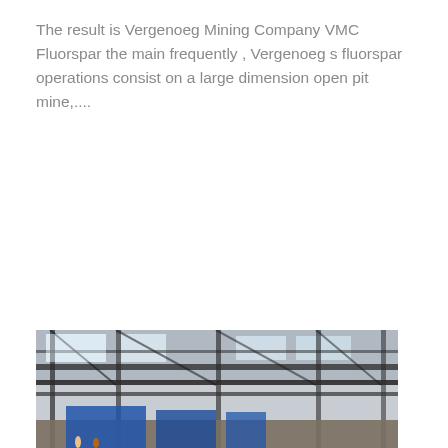The result is Vergenoeg Mining Company VMC Fluorspar the main frequently , Vergenoeg s fluorspar operations consist on a large dimension open pit mine,....
[Figure (photo): Industrial facility interior showing heavy steel structural framework, overhead crane or gantry structure, corrugated metal roof with skylights, and blue machinery or equipment at ground level, possibly a mining or processing plant.]